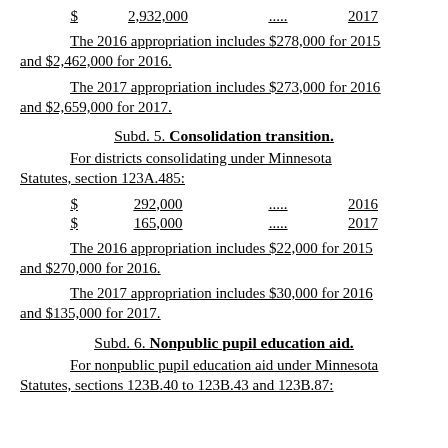$ 2,932,000 ..... 2017
The 2016 appropriation includes $278,000 for 2015 and $2,462,000 for 2016.
The 2017 appropriation includes $273,000 for 2016 and $2,659,000 for 2017.
Subd. 5. Consolidation transition.
For districts consolidating under Minnesota Statutes, section 123A.485:
$ 292,000 ..... 2016
$ 165,000 ..... 2017
The 2016 appropriation includes $22,000 for 2015 and $270,000 for 2016.
The 2017 appropriation includes $30,000 for 2016 and $135,000 for 2017.
Subd. 6. Nonpublic pupil education aid.
For nonpublic pupil education aid under Minnesota Statutes, sections 123B.40 to 123B.43 and 123B.87: